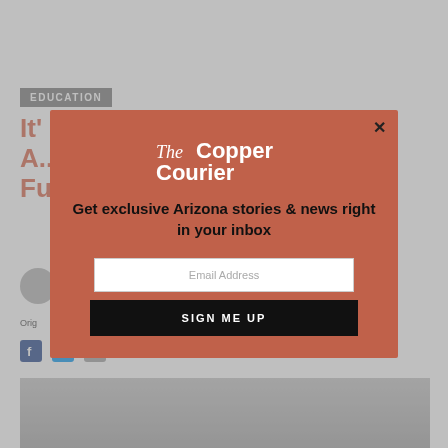EDUCATION
It'’s A... Fu... s
[Figure (screenshot): The Copper Courier newsletter signup modal overlay on education article page]
Get exclusive Arizona stories & news right in your inbox
Email Address
SIGN ME UP
Orig...
[Figure (photo): Bottom photo of article content, pencils or similar object on desk]